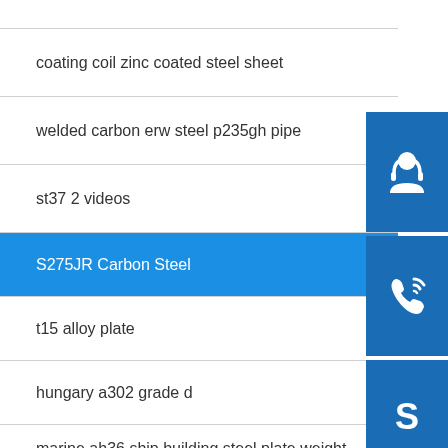coating coil zinc coated steel sheet
welded carbon erw steel p235gh pipe
st37 2 videos
S275JR Carbon Steel
t15 alloy plate
hungary a302 grade d
marine ah36 ship building steel plate weight supplier
h beam i beam steel products imported